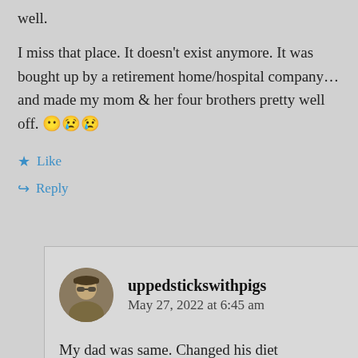well.
I miss that place. It doesn't exist anymore. It was bought up by a retirement home/hospital company…and made my mom & her four brothers pretty well off. 😶😢😢
Like
Reply
uppedstickswithpigs
May 27, 2022 at 6:45 am
My dad was same. Changed his diet and began eating low-fat spreads and